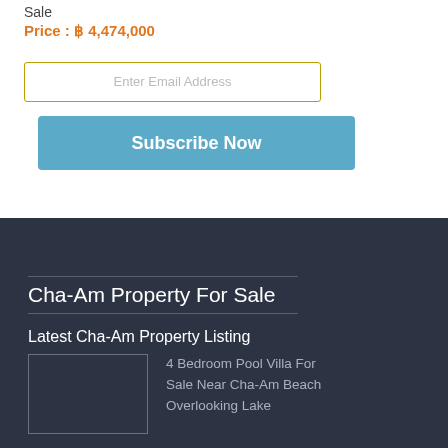Sale
Price : ฿ 4,474,000
Enter Email Address
Subscribe Now
Cha-Am Property For Sale
Latest Cha-Am Property Listing
[Figure (photo): Property listing thumbnail image placeholder]
4 Bedroom Pool Villa For Sale Near Cha-Am Beach Overlooking Lake